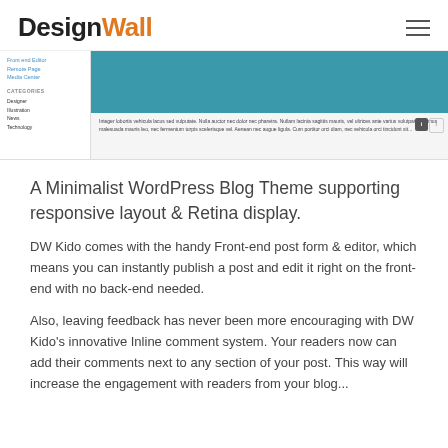DesignWall
[Figure (screenshot): Screenshot of a WordPress blog theme (DW Kido) showing a sidebar with navigation links and categories, a teal/blue featured image area, and a text preview with comment badge.]
A Minimalist WordPress Blog Theme supporting responsive layout & Retina display.
DW Kido comes with the handy Front-end post form & editor, which means you can instantly publish a post and edit it right on the front-end with no back-end needed.
Also, leaving feedback has never been more encouraging with DW Kido's innovative Inline comment system. Your readers now can add their comments next to any section of your post. This way will increase the engagement with readers from your blog...